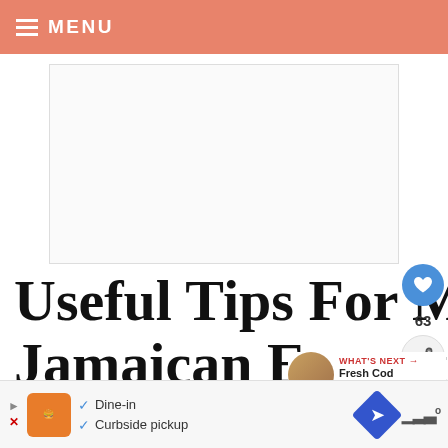≡ MENU
[Figure (other): Advertisement placeholder banner, white background with light border]
Useful Tips For Making The Best Jamaican Escovitch
[Figure (other): Heart/like button showing 63 likes and a share button]
[Figure (other): WHAT'S NEXT -> Fresh Cod Fish Recipe thumbnail]
[Figure (other): Bottom advertisement banner with logo, Dine-in and Curbside pickup options, navigation and weather icons]